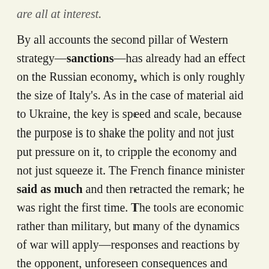are all at interest.
By all accounts the second pillar of Western strategy—sanctions—has already had an effect on the Russian economy, which is only roughly the size of Italy's. As in the case of material aid to Ukraine, the key is speed and scale, because the purpose is to shake the polity and not just put pressure on it, to cripple the economy and not just squeeze it. The French finance minister said as much and then retracted the remark; he was right the first time. The tools are economic rather than military, but many of the dynamics of war will apply—responses and reactions by the opponent, unforeseen consequences and